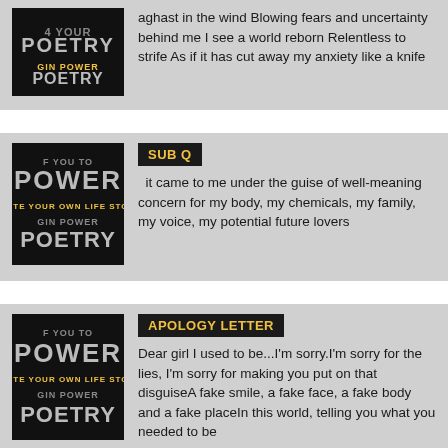aghast in the wind Blowing fears and uncertainty behind me I see a world reborn Relentless to strife As if it has cut away my anxiety like a knife
[Figure (illustration): Power Poetry logo - black background with stylized text POWER and POETRY in grunge/collage style]
SUB Q
it came to me under the guise of well-meaning concern for my body, my chemicals, my family, my voice, my potential future lovers
[Figure (illustration): Power Poetry logo - black background with stylized text POWER and POETRY in grunge/collage style]
APOLOGY LETTER
Dear girl I used to be...I'm sorry.I'm sorry for the lies, I'm sorry for making you put on that disguiseA fake smile, a fake face, a fake body and a fake placeIn this world, telling you what you needed to be